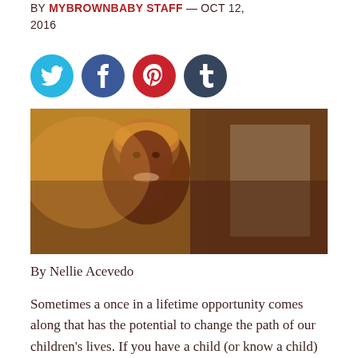BY MYBROWNBABY STAFF — OCT 12, 2016
[Figure (illustration): Four social media icon buttons: Twitter (cyan), Facebook (dark blue), Pinterest (red), Tumblr (dark slate blue)]
[Figure (photo): A smiling Black woman with a head wrap, resting her chin on her hand, looking upward thoughtfully, with a warm amber/brown background]
By Nellie Acevedo
Sometimes a once in a lifetime opportunity comes along that has the potential to change the path of our children's lives. If you have a child (or know a child) that is